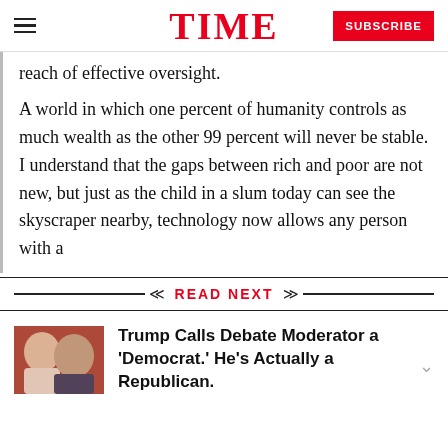TIME — SUBSCRIBE
reach of effective oversight.
A world in which one percent of humanity controls as much wealth as the other 99 percent will never be stable. I understand that the gaps between rich and poor are not new, but just as the child in a slum today can see the skyscraper nearby, technology now allows any person with a
READ NEXT
Trump Calls Debate Moderator a 'Democrat.' He's Actually a Republican.